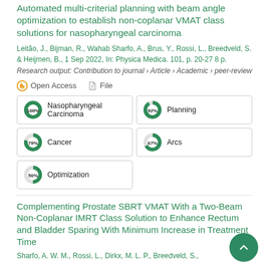Automated multi-criterial planning with beam angle optimization to establish non-coplanar VMAT class solutions for nasopharyngeal carcinoma
Leitão, J., Bijman, R., Wahab Sharfo, A., Brus, Y., Rossi, L., Breedveld, S. & Heijmen, B., 1 Sep 2022, In: Physica Medica. 101, p. 20-27 8 p.
Research output: Contribution to journal › Article › Academic › peer-review
Open Access   File
100% Nasopharyngeal Carcinoma
92% Planning
79% Cancer
67% Arcs
50% Optimization
Complementing Prostate SBRT VMAT With a Two-Beam Non-Coplanar IMRT Class Solution to Enhance Rectum and Bladder Sparing With Minimum Increase in Treatment Time
Sharfo, A. W. M., Rossi, L., Dirkx, M. L. P., Breedveld, S.,